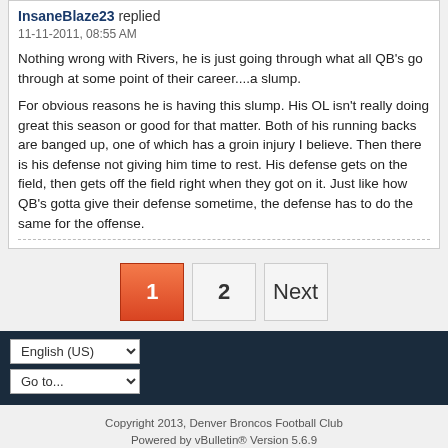InsaneBlaze23 replied
11-11-2011, 08:55 AM
Nothing wrong with Rivers, he is just going through what all QB's go through at some point of their career....a slump.
For obvious reasons he is having this slump. His OL isn't really doing great this season or good for that matter. Both of his running backs are banged up, one of which has a groin injury I believe. Then there is his defense not giving him time to rest. His defense gets on the field, then gets off the field right when they got on it. Just like how QB's gotta give their defense sometime, the defense has to do the same for the offense.
1 2 Next (pagination)
English (US) dropdown, Go to... dropdown
Copyright 2013, Denver Broncos Football Club
Powered by vBulletin® Version 5.6.9
Copyright © 2022 MH Sub I, LLC dba vBulletin. All rights reserved.
All times are GMT-7. This page was generated at 11:33 PM.